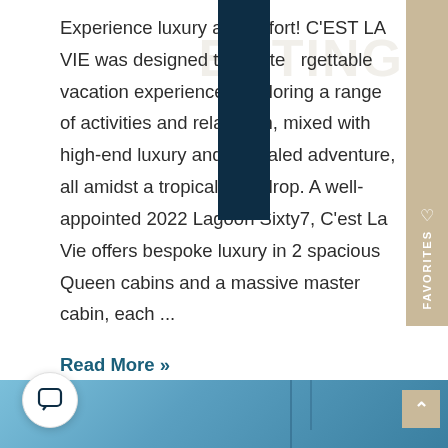Experience luxury and comfort! C'EST LA VIE was designed to create unforgettable vacation experiences exploring a range of activities and relaxation, mixed with high-end luxury and unrivaled adventure, all amidst a tropical backdrop. A well-appointed 2022 Lagoon Sixty7, C'est La Vie offers bespoke luxury in 2 spacious Queen cabins and a massive master cabin, each ...
Read More »
[Figure (photo): Bottom portion of page showing a sailboat against blue sky, partially visible]